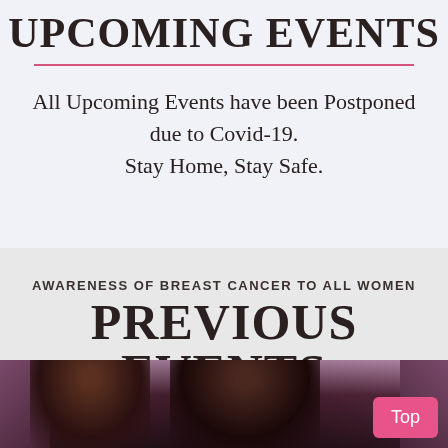UPCOMING EVENTS
All Upcoming Events have been Postponed due to Covid-19.
Stay Home, Stay Safe.
AWARENESS OF BREAST CANCER TO ALL WOMEN
PREVIOUS EVENTS
[Figure (photo): Two people standing in front of draped pink and dark fabric backdrop, event venue setting]